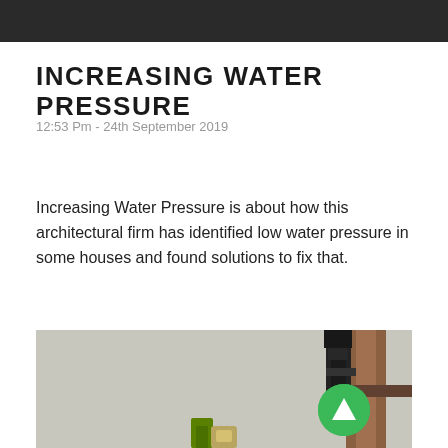INCREASING WATER PRESSURE
12:53 Pm - 24th September 2019
Increasing Water Pressure is about how this architectural firm has identified low water pressure in some houses and found solutions to fix that.
[Figure (photo): Close-up photo of plumbing hardware including copper/metal pipes and fittings against a rough textured white stucco wall, with a green circular button/arrow overlay in the lower right area of the image.]